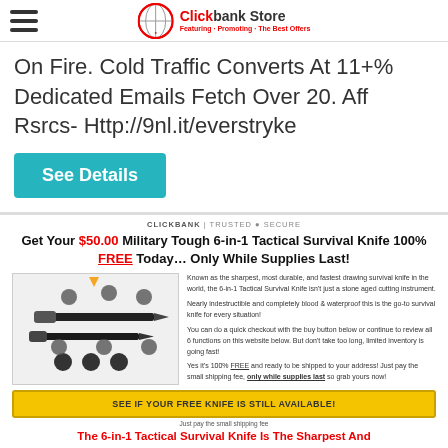Clickbank Store
On Fire. Cold Traffic Converts At 11+% Dedicated Emails Fetch Over 20. Aff Rsrcs- Http://9nl.it/everstryke
See Details
CLICKBANK | TRUSTED • SECURE
Get Your $50.00 Military Tough 6-in-1 Tactical Survival Knife 100% FREE Today… Only While Supplies Last!
[Figure (photo): 6-in-1 Tactical Survival Knife product photo with callout labels]
Known as the sharpest, most durable, and fastest drawing survival knife in the world, the 6-in-1 Tactical Survival Knife isn't just a stone aged cutting instrument.

Nearly indestructible and completely blood & waterproof this is the go-to survival knife for every situation!

You can do a quick checkout with the buy button below or continue to review all 6 functions on this website below. But don't take too long, limited inventory is going fast!

Yes it's 100% FREE and ready to be shipped to your address! Just pay the small shipping fee, only while supplies last so grab yours now!
SEE IF YOUR FREE KNIFE IS STILL AVAILABLE!
Just pay the small shipping fee
The 6-in-1 Tactical Survival Knife Is The Sharpest And